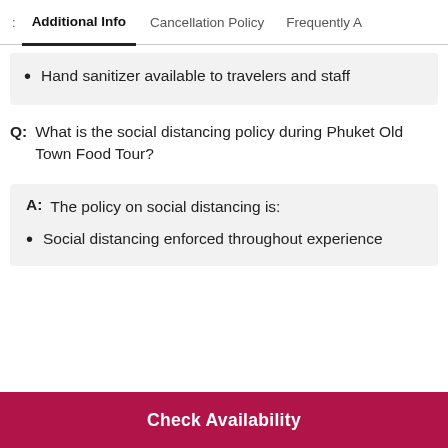Additional Info | Cancellation Policy | Frequently A
Hand sanitizer available to travelers and staff
Q: What is the social distancing policy during Phuket Old Town Food Tour?
A: The policy on social distancing is:
Social distancing enforced throughout experience
Check Availability